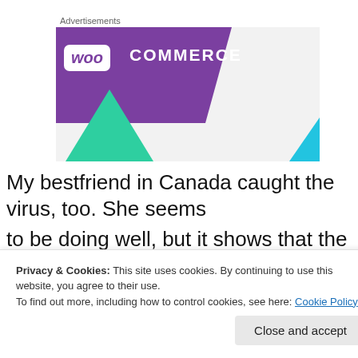Advertisements
[Figure (illustration): WooCommerce advertisement banner with purple background, white 'woo' badge, 'COMMERCE' text, green triangle lower-left, blue triangle lower-right, grey background]
My bestfriend in Canada caught the virus, too. She seems
to be doing well, but it shows that the virus is still out there
Privacy & Cookies: This site uses cookies. By continuing to use this website, you agree to their use.
To find out more, including how to control cookies, see here: Cookie Policy
Close and accept